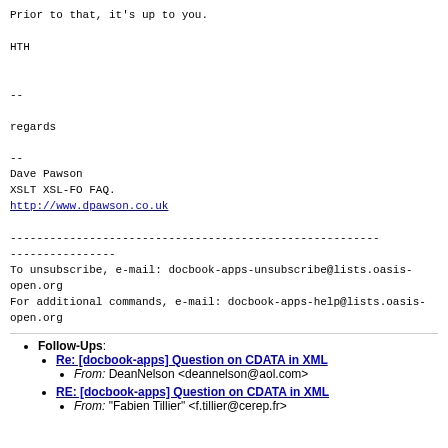Prior to that, it's up to you.

HTH


--

regards

--
Dave Pawson
XSLT XSL-FO FAQ.
http://www.dpawson.co.uk

--------------------------------------------------------
----------------
To unsubscribe, e-mail: docbook-apps-unsubscribe@lists.oasis-open.org
For additional commands, e-mail: docbook-apps-help@lists.oasis-open.org
Follow-Ups:
Re: [docbook-apps] Question on CDATA in XML
From: DeanNelson <deannelson@aol.com>
RE: [docbook-apps] Question on CDATA in XML
From: "Fabien Tillier" <f.tillier@cerep.fr>